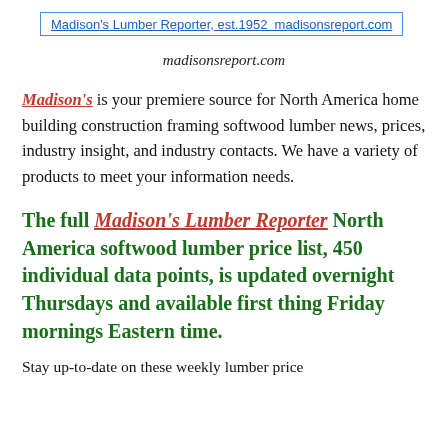Madison's Lumber Reporter, est.1952  madisonsreport.com
madisonsreport.com
Madison's is your premiere source for North America home building construction framing softwood lumber news, prices, industry insight, and industry contacts. We have a variety of products to meet your information needs.
The full Madison's Lumber Reporter North America softwood lumber price list, 450 individual data points, is updated overnight Thursdays and available first thing Friday mornings Eastern time.
Stay up-to-date on these weekly lumber price